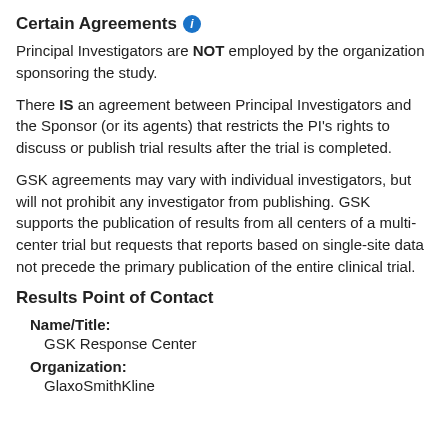Certain Agreements
Principal Investigators are NOT employed by the organization sponsoring the study.
There IS an agreement between Principal Investigators and the Sponsor (or its agents) that restricts the PI's rights to discuss or publish trial results after the trial is completed.
GSK agreements may vary with individual investigators, but will not prohibit any investigator from publishing. GSK supports the publication of results from all centers of a multi-center trial but requests that reports based on single-site data not precede the primary publication of the entire clinical trial.
Results Point of Contact
Name/Title:
GSK Response Center
Organization:
GlaxoSmithKline